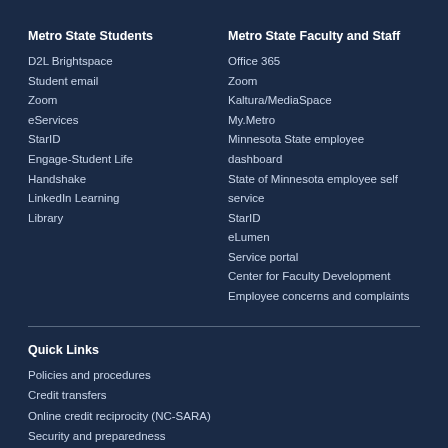Metro State Students
D2L Brightspace
Student email
Zoom
eServices
StarID
Engage-Student Life
Handshake
LinkedIn Learning
Library
Metro State Faculty and Staff
Office 365
Zoom
Kaltura/MediaSpace
My.Metro
Minnesota State employee dashboard
State of Minnesota employee self service
StarID
eLumen
Service portal
Center for Faculty Development
Employee concerns and complaints
Quick Links
Policies and procedures
Credit transfers
Online credit reciprocity (NC-SARA)
Security and preparedness